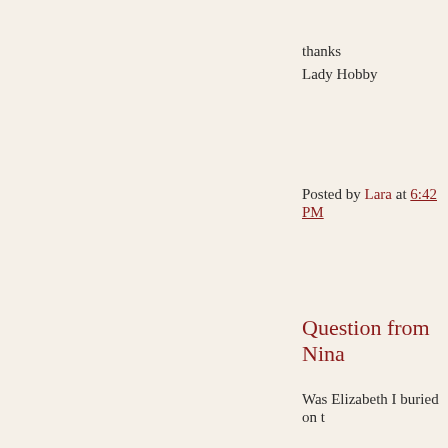thanks
Lady Hobby
Posted by Lara at 6:42 PM
Question from Nina
Was Elizabeth I buried on t
Posted by Lara at 6:41 PM
Friday, May 01, 2009
Question from Mo
I've been reading that Mary Skelton. Is there a proven h
Posted by Lara at 3:51 PM